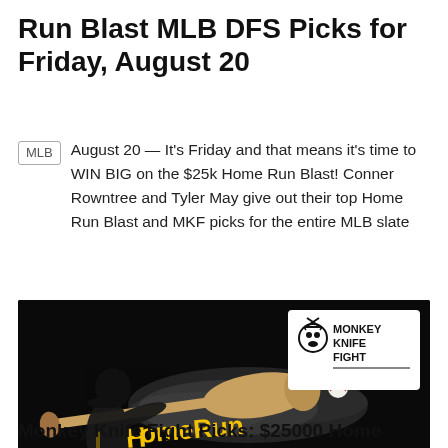Run Blast MLB DFS Picks for Friday, August 20
August 20 — It's Friday and that means it's time to WIN BIG on the $25k Home Run Blast! Conner Rowntree and Tyler May give out their top Home Run Blast and MKF picks for the entire MLB slate
[Figure (photo): Monkey Knife Fight Home Run Blast promotional image showing a baseball player swinging a bat with smoke effects, '$25,000 Friday Prize Pool' text, and the Monkey Knife Fight logo in the top right corner.]
Monkey Knife Fight Picks: $25000 Home